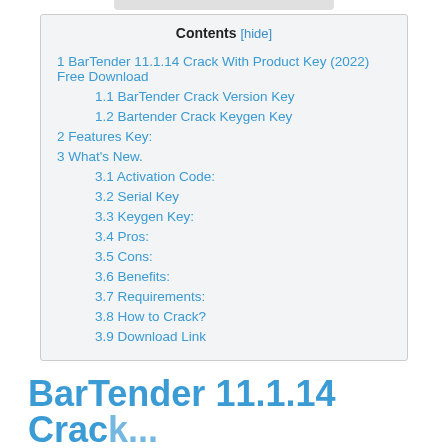| Contents [hide] |
| 1 BarTender 11.1.14 Crack With Product Key (2022) Free Download |
| 1.1 BarTender Crack Version Key |
| 1.2 Bartender Crack Keygen Key |
| 2 Features Key: |
| 3 What's New. |
| 3.1 Activation Code: |
| 3.2  Serial Key |
| 3.3  Keygen Key: |
| 3.4 Pros: |
| 3.5 Cons: |
| 3.6 Benefits: |
| 3.7 Requirements: |
| 3.8 How to Crack? |
| 3.9 Download Link |
BarTender 11.1.14 Crack...